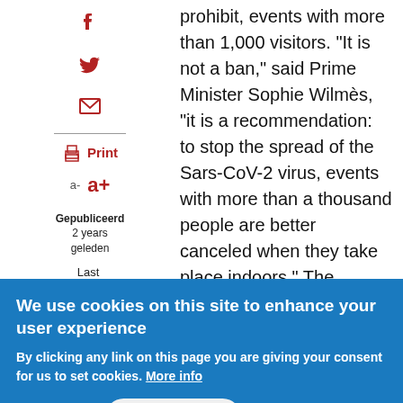prohibit, events with more than 1,000 visitors. "It is not a ban," said Prime Minister Sophie Wilmès, "it is a recommendation: to stop the spread of the Sars-CoV-2 virus, events with more than a thousand people are better canceled when they take place indoors." The federal government and the federal governments have no objection to anything that is organized outside. There is also no "ban" in the Netherlands, the Board of Directors says that for the time being all events can continue as long as there is no negative advice. However, the Executive Board calls for
We use cookies on this site to enhance your user experience
By clicking any link on this page you are giving your consent for us to set cookies. More info
No, thanks
OK, I agree